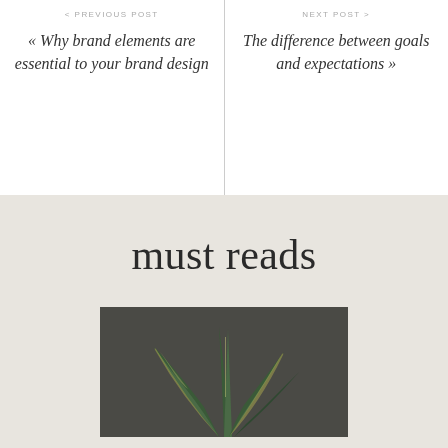< PREVIOUS POST
« Why brand elements are essential to your brand design
NEXT POST >
The difference between goals and expectations »
must reads
[Figure (photo): A snake plant (Sansevieria) with dark green and yellow-edged leaves photographed against a dark grey background]